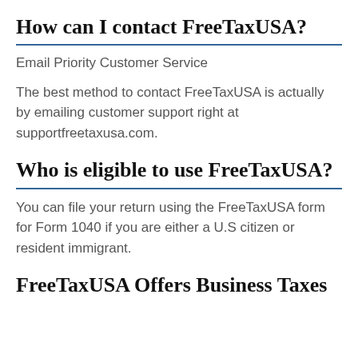How can I contact FreeTaxUSA?
Email Priority Customer Service
The best method to contact FreeTaxUSA is actually by emailing customer support right at supportfreetaxusa.com.
Who is eligible to use FreeTaxUSA?
You can file your return using the FreeTaxUSA form for Form 1040 if you are either a U.S citizen or resident immigrant.
FreeTaxUSA Offers Business Taxes